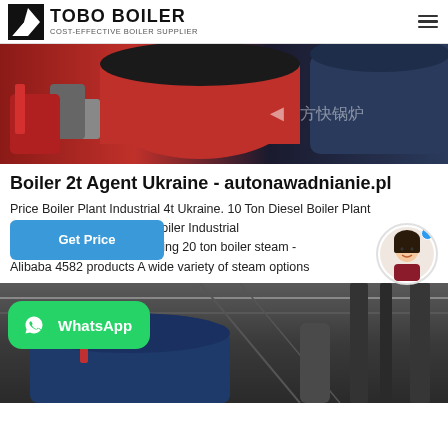TOBO BOILER — COST-EFFECTIVE BOILER SUPPLIER
[Figure (photo): Industrial boilers in a factory setting, red and blue/dark colored boilers, with Chinese watermark text]
Boiler 2t Agent Ukraine - autonawadnianie.pl
Price Boiler Plant Industrial 4t Ukraine. 10 Ton Diesel Boiler Plant Ukraine. Price 20 Ton Coal Boiler Industrial price of steam power plant using 20 ton boiler steam - Alibaba 4582 products A wide variety of steam options
[Figure (photo): Industrial boiler facility interior with large pipes and equipment, dark industrial setting]
[Figure (other): WhatsApp contact button overlay in green]